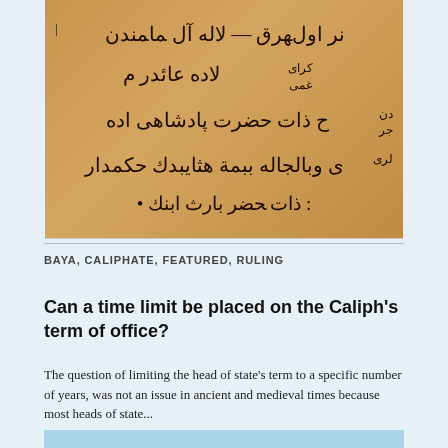[Figure (photo): A scanned manuscript page with Arabic/Ottoman text written in dark ink on aged yellowish-brown paper, showing several lines of Arabic script]
BAYA, CALIPHATE, FEATURED, RULING
Can a time limit be placed on the Caliph's term of office?
The question of limiting the head of state's term to a specific number of years, was not an issue in ancient and medieval times because most heads of state...
March 12, 2022